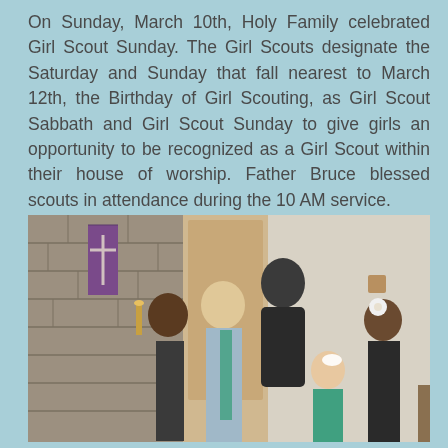On Sunday, March 10th, Holy Family celebrated Girl Scout Sunday. The Girl Scouts designate the Saturday and Sunday that fall nearest to March 12th, the Birthday of Girl Scouting, as Girl Scout Sabbath and Girl Scout Sunday to give girls an opportunity to be recognized as a Girl Scout within their house of worship. Father Bruce blessed scouts in attendance during the 10 AM service.
[Figure (photo): A group of Girl Scouts and an adult man standing inside a church. The church has stone walls on the left. Three young girls are visible in the foreground wearing Girl Scout uniforms/sashes, and a younger girl in a teal Girl Scout uniform stands in front. An adult bald man in a dark shirt stands behind them. On the right is another girl in a dark Scout uniform with a white flower in her hair.]